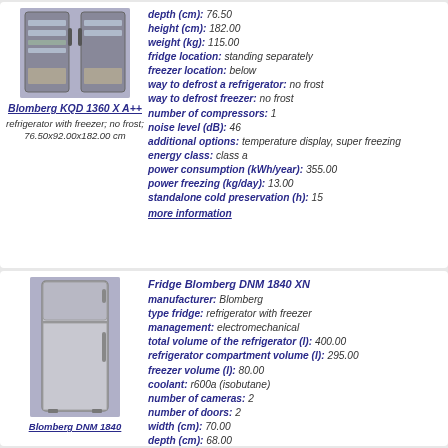[Figure (photo): Photo of Blomberg KQD 1360 X A++ refrigerator with freezer, open doors showing interior]
Blomberg KQD 1360 X A++
refrigerator with freezer; no frost; 76.50x92.00x182.00 cm
depth (cm): 76.50
height (cm): 182.00
weight (kg): 115.00
fridge location: standing separately
freezer location: below
way to defrost a refrigerator: no frost
way to defrost freezer: no frost
number of compressors: 1
noise level (dB): 46
additional options: temperature display, super freezing
energy class: class a
power consumption (kWh/year): 355.00
power freezing (kg/day): 13.00
standalone cold preservation (h): 15
more information
[Figure (photo): Photo of Blomberg DNM 1840 XN refrigerator, single door tall fridge]
Blomberg DNM 1840
Fridge Blomberg DNM 1840 XN
manufacturer: Blomberg
type fridge: refrigerator with freezer
management: electromechanical
total volume of the refrigerator (l): 400.00
refrigerator compartment volume (l): 295.00
freezer volume (l): 80.00
coolant: r600a (isobutane)
number of cameras: 2
number of doors: 2
width (cm): 70.00
depth (cm): 68.00
height (cm): 169.00
fridge location: standing separately
freezer location: above